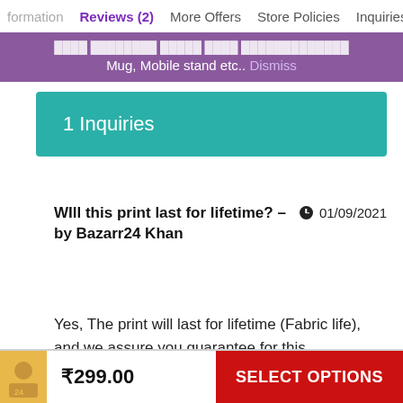formation   Reviews (2)   More Offers   Store Policies   Inquiries
Mug, Mobile stand etc..  Dismiss
1 Inquiries
Will this print last for lifetime? – by Bazarr24 Khan   01/09/2021
Yes, The print will last for lifetime (Fabric life), and we assure you guarantee for this.
₹299.00   SELECT OPTIONS